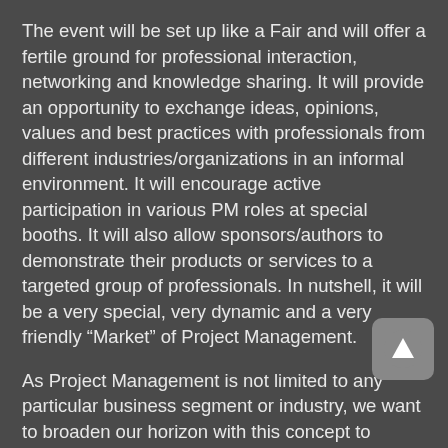The event will be set up like a Fair and will offer a fertile ground for professional interaction, networking and knowledge sharing. It will provide an opportunity to exchange ideas, opinions, values and best practices with professionals from different industries/organizations in an informal environment. It will encourage active participation in various PM roles at special booths. It will also allow sponsors/authors to demonstrate their products or services to a targeted group of professionals. In nutshell, it will be a very special, very dynamic and a very friendly “Market” of Project Management.
As Project Management is not limited to any particular business segment or industry, we want to broaden our horizon with this concept to welcome practitioners, academicians, speakers, writers, lecturers, recruiters as well as sponsors from different organizations, industries, professions, universities, etc. The Market Place consists of making our event a big fair. At the same place, it groups the sponsors, speakers, the persons who are looking for a job and the persons who can share some opportunities. The Market Place must be the central point of the event, the whole day, we must organize animations, entertainment, content, networking. The purpose is to have